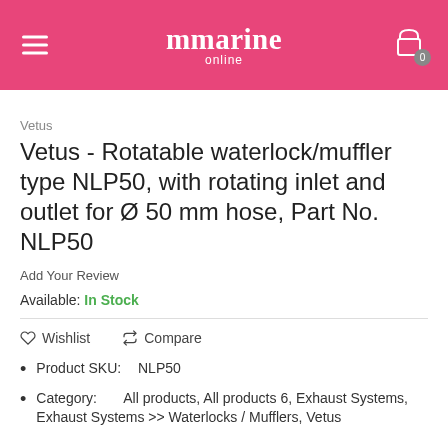mmarine online
Vetus
Vetus - Rotatable waterlock/muffler type NLP50, with rotating inlet and outlet for Ø 50 mm hose, Part No. NLP50
Add Your Review
Available: In Stock
Wishlist   Compare
Product SKU:    NLP50
Category:    All products, All products 6, Exhaust Systems, Exhaust Systems >> Waterlocks / Mufflers, Vetus